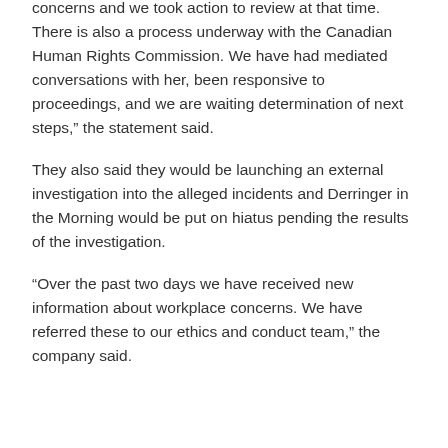concerns and we took action to review at that time. There is also a process underway with the Canadian Human Rights Commission. We have had mediated conversations with her, been responsive to proceedings, and we are waiting determination of next steps,” the statement said.
They also said they would be launching an external investigation into the alleged incidents and Derringer in the Morning would be put on hiatus pending the results of the investigation.
“Over the past two days we have received new information about workplace concerns. We have referred these to our ethics and conduct team,” the company said.